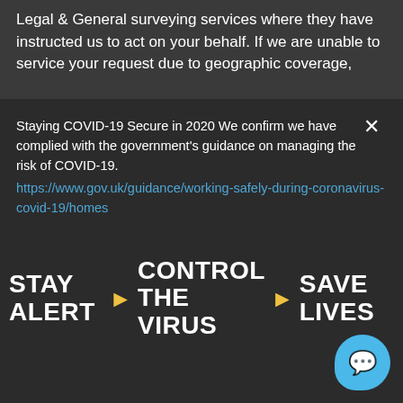Legal & General surveying services where they have instructed us to act on your behalf. If we are unable to service your request due to geographic coverage,
Staying COVID-19 Secure in 2020 We confirm we have complied with the government's guidance on managing the risk of COVID-19. https://www.gov.uk/guidance/working-safely-during-coronavirus-covid-19/homes
STAY ALERT ▶ CONTROL THE VIRUS ▶ SAVE LIVES